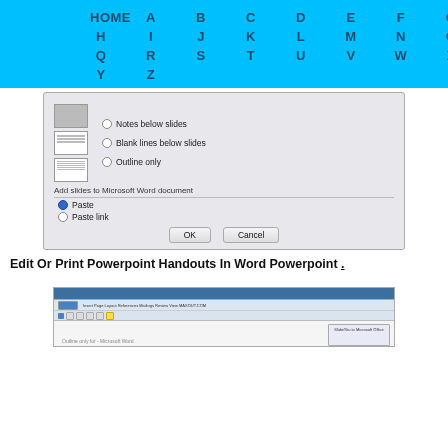HOME A B C D E F G H I J K L M N O P Q R S T U V W X Y Z
[Figure (screenshot): Dialog box screenshot showing options: Notes below slides, Blank lines below slides, Outline only, with Add slides to Microsoft Word document section showing Paste and Paste link radio buttons, and OK/Cancel buttons]
Edit Or Print Powerpoint Handouts In Word Powerpoint .
[Figure (screenshot): Microsoft Word application window screenshot showing ribbon toolbar and document content]